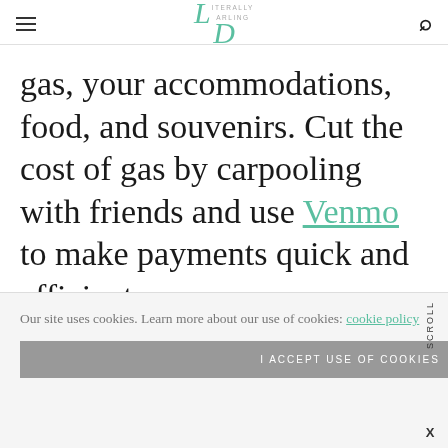Literally Darling — navigation header with hamburger menu and search icon
gas, your accommodations, food, and souvenirs. Cut the cost of gas by carpooling with friends and use Venmo to make payments quick and efficient.
Our site uses cookies. Learn more about our use of cookies: cookie policy
I ACCEPT USE OF COOKIES